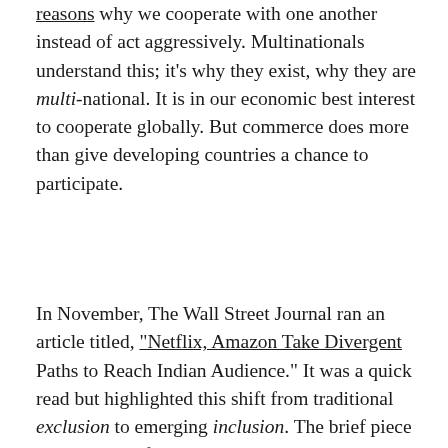reasons why we cooperate with one another instead of act aggressively. Multinationals understand this; it's why they exist, why they are multi-national. It is in our economic best interest to cooperate globally. But commerce does more than give developing countries a chance to participate.
In November, The Wall Street Journal ran an article titled, “Netflix, Amazon Take Divergent Paths to Reach Indian Audience.” It was a quick read but highlighted this shift from traditional exclusion to emerging inclusion. The brief piece described Netflix’s cost-